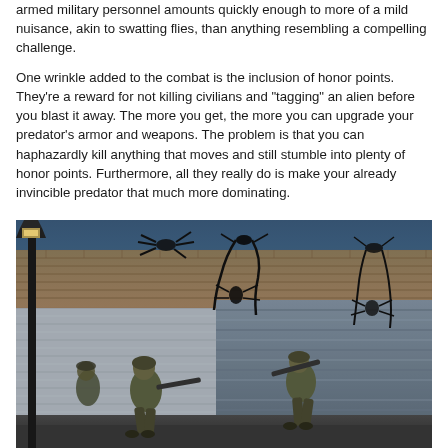armed military personnel amounts quickly enough to more of a mild nuisance, akin to swatting flies, than anything resembling a compelling challenge.
One wrinkle added to the combat is the inclusion of honor points. They're a reward for not killing civilians and "tagging" an alien before you blast it away. The more you get, the more you can upgrade your predator's armor and weapons. The problem is that you can haphazardly kill anything that moves and still stumble into plenty of honor points. Furthermore, all they really do is make your already invincible predator that much more dominating.
[Figure (screenshot): Video game screenshot showing military soldiers aiming weapons at dark alien creatures clinging to a brick building wall, with a street lamp in the foreground and twilight sky in background.]